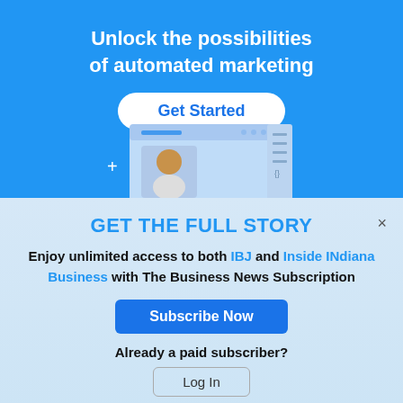[Figure (screenshot): Blue advertisement banner for automated marketing with 'Get Started' button and UI mockup illustration]
GET THE FULL STORY
Enjoy unlimited access to both IBJ and Inside INdiana Business with The Business News Subscription
Subscribe Now
Already a paid subscriber?
Log In